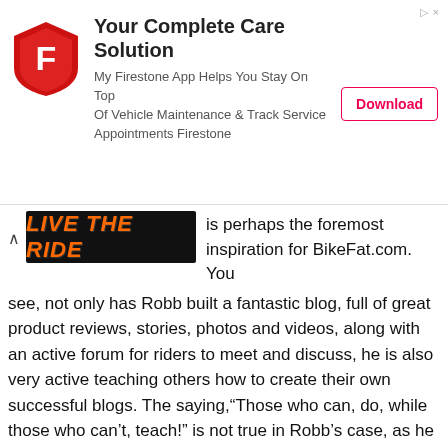[Figure (advertisement): Firestone app advertisement banner with shield logo, title 'Your Complete Care Solution', body text about vehicle maintenance app, and a Download button.]
[Figure (logo): Live The Ride logo on black background with orange italic text]
is perhaps the foremost inspiration for BikeFat.com. You see, not only has Robb built a fantastic blog, full of great product reviews, stories, photos and videos, along with an active forum for riders to meet and discuss, he is also very active teaching others how to create their own successful blogs. The saying,“Those who can, do, while those who can’t, teach!” is not true in Robb’s case, as he can so obviously do both and it’s for this reason that Bike198 goes first in this list of best mountain bike blogs.
[Figure (illustration): Illustration of a mountain biker silhouette on a trail with blue mountain ranges in the background]
2. MTB 4 Her
MTB4Her.com was created after one